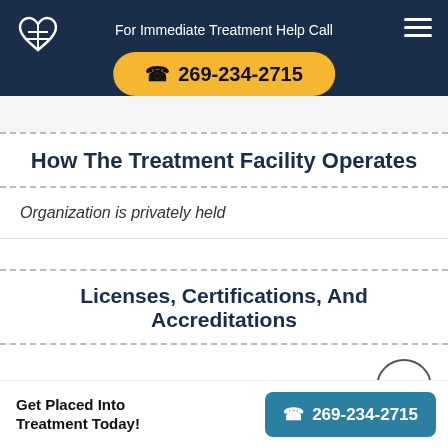For Immediate Treatment Help Call 269-234-2715
How The Treatment Facility Operates
Organization is privately held
Licenses, Certifications, And Accreditations
State Funded Addiction Treatment Agency
Commission on Accreditation of Rehabilitation
Get Placed Into Treatment Today!
269-234-2715